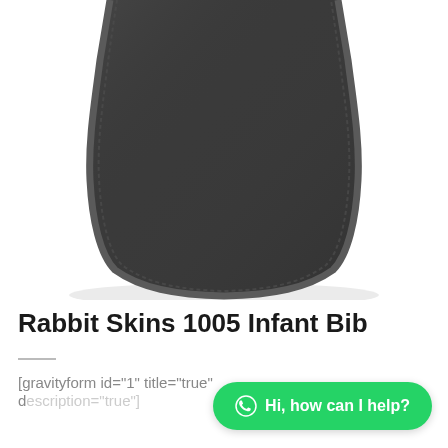[Figure (photo): Bottom portion of a dark gray/charcoal infant bib product photo on white background, showing the rounded lower half of the bib with a textured stitched border edge]
Rabbit Skins 1005 Infant Bib
[gravityform id="1" title="true" description="true"]
Hi, how can I help?